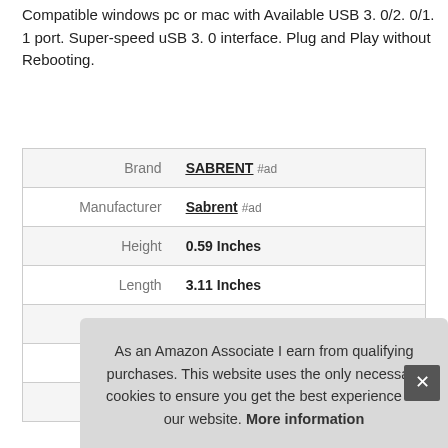Compatible windows pc or mac with Available USB 3. 0/2. 0/1. 1 port. Super-speed uSB 3. 0 interface. Plug and Play without Rebooting.
|  |  |
| --- | --- |
| Brand | SABRENT #ad |
| Manufacturer | Sabrent #ad |
| Height | 0.59 Inches |
| Length | 3.11 Inches |
| Weight | 0.19 Pounds |
| Width | 2.36 Inches |
| P |  |
As an Amazon Associate I earn from qualifying purchases. This website uses the only necessary cookies to ensure you get the best experience on our website. More information